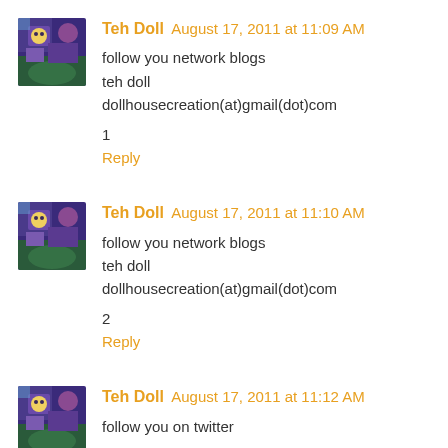Teh Doll August 17, 2011 at 11:09 AM
follow you network blogs
teh doll
dollhousecreation(at)gmail(dot)com
1
Reply
Teh Doll August 17, 2011 at 11:10 AM
follow you network blogs
teh doll
dollhousecreation(at)gmail(dot)com
2
Reply
Teh Doll August 17, 2011 at 11:12 AM
follow you on twitter